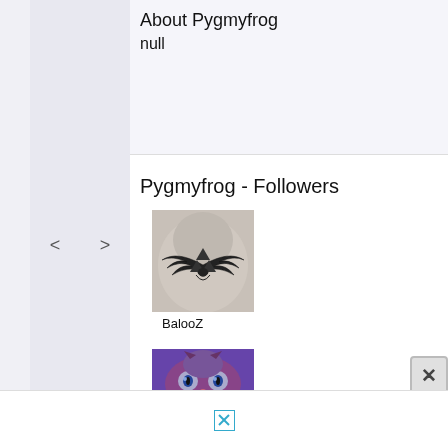About Pygmyfrog
null
Pygmyfrog - Followers
[Figure (photo): Black and white photo of a Zelda triforce tattoo with wings on someone's back/shoulder]
BalooZ
[Figure (photo): Close-up photo of a cat's face with blue/purple tones]